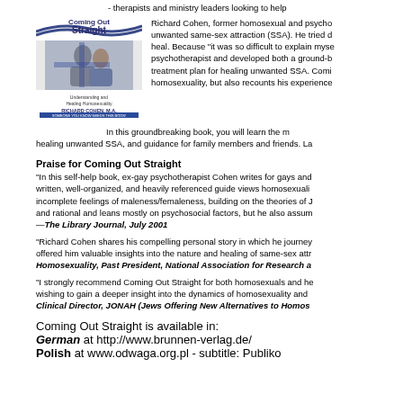- therapists and ministry leaders looking to help...
[Figure (photo): Book cover of 'Coming Out Straight: Understanding and Healing Homosexuality' by Richard Cohen, M.A. featuring a photo of a man and woman, with text 'Someone You Know Needs This Book!']
Richard Cohen, former homosexual and psycho... unwanted same-sex attraction (SSA). He tried d... heal. Because "it was so difficult to explain myse... psychotherapist and developed both a ground-b... treatment plan for healing unwanted SSA. Comi... homosexuality, but also recounts his experience...
In this groundbreaking book, you will learn the m... healing unwanted SSA, and guidance for family members and friends. La...
Praise for Coming Out Straight
"In this self-help book, ex-gay psychotherapist Cohen writes for gays and... written, well-organized, and heavily referenced guide views homosexuali... incomplete feelings of maleness/femaleness, building on the theories of J... and rational and leans mostly on psychosocial factors, but he also assum... —The Library Journal, July 2001
"Richard Cohen shares his compelling personal story in which he journey... offered him valuable insights into the nature and healing of same-sex attr... Homosexuality, Past President, National Association for Research a...
"I strongly recommend Coming Out Straight for both homosexuals and he... wishing to gain a deeper insight into the dynamics of homosexuality and... Clinical Director, JONAH (Jews Offering New Alternatives to Homos...
Coming Out Straight is available in:
German at http://www.brunnen-verlag.de/
Polish at www.odwaga.org.pl - subtitle: Publiko...